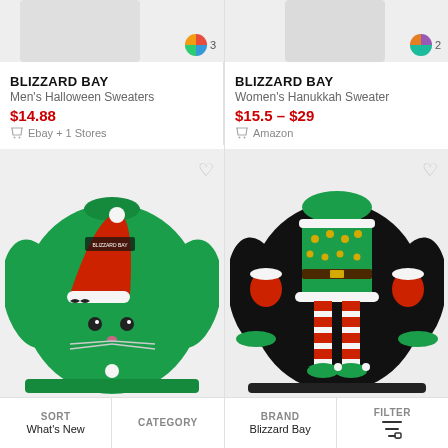[Figure (photo): Partial product image top-left with color swatch bubble showing 3]
[Figure (photo): Partial product image top-right with color swatch bubble showing 2]
BLIZZARD BAY
Men's Halloween Sweaters
$14.88
Ebay + 1 Stores
BLIZZARD BAY
Women's Hanukkah Sweater
$15.5 – $29
Amazon
[Figure (photo): Green fuzzy Christmas cat sweater with Santa hat design]
[Figure (photo): Black Christmas elf sweater with green dress and striped legs design]
SORT
What's New
CATEGORY
BRAND
Blizzard Bay
FILTER